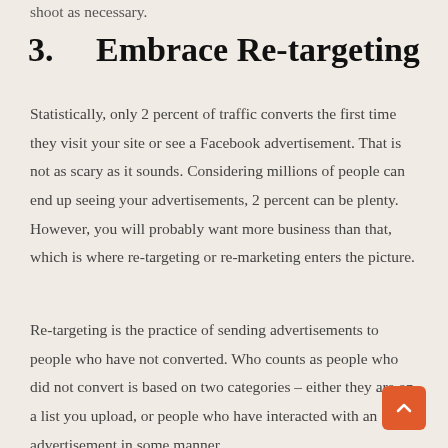shoot as necessary.
3.    Embrace Re-targeting
Statistically, only 2 percent of traffic converts the first time they visit your site or see a Facebook advertisement. That is not as scary as it sounds. Considering millions of people can end up seeing your advertisements, 2 percent can be plenty. However, you will probably want more business than that, which is where re-targeting or re-marketing enters the picture.
Re-targeting is the practice of sending advertisements to people who have not converted. Who counts as people who did not convert is based on two categories – either they are on a list you upload, or people who have interacted with an advertisement in some manner.